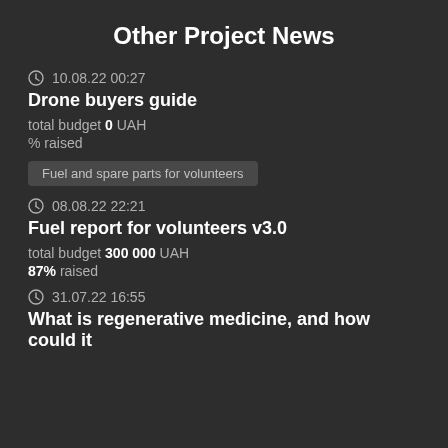Other Project News
10.08.22 00:27
Drone buyers guide
total budget 0 UAH
% raised
Fuel and spare parts for volunteers
08.08.22 22:21
Fuel report for volunteers v3.0
total budget 300 000 UAH
87% raised
31.07.22 16:55
What is regenerative medicine, and how could it help ATU?